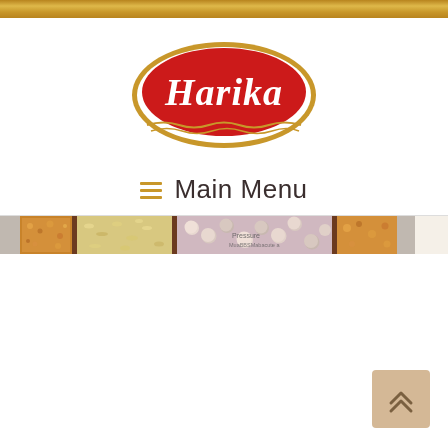Gold decorative bar
[Figure (logo): Harika brand logo — red oval with white italic text 'Harika', gold oval border with decorative wavy lines at the bottom]
≡  Main Menu
[Figure (photo): Horizontal food strip showing various food products (nuts, grains, legumes) separated by dark brown dividers]
[Figure (other): Scroll-to-top button with double chevron up arrow, tan/beige background, bottom-right corner]